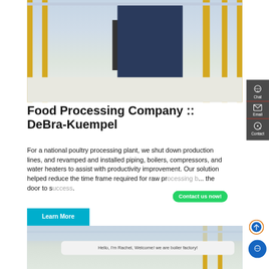[Figure (photo): Industrial factory interior with yellow pipes, heavy machinery, boilers, and a dark staircase against a light floor — a food processing or industrial plant facility.]
Food Processing Company :: DeBra-Kuempel
For a national poultry processing plant, we shut down production lines, and revamped and installed piping, boilers, compressors, and water heaters to assist with productivity improvement. Our solution helped reduce the time frame required for raw pr... b... the door to s...
[Figure (screenshot): WhatsApp icon (green rounded square with white phone handset) and a green 'Contact us now!' button overlay.]
[Figure (screenshot): Side panel with Chat (headset icon), Email (envelope icon), and Contact icons on dark gray background with red dividers.]
[Figure (photo): Bottom portion of industrial factory interior with yellow pipes and industrial equipment.]
Hello, I'm Rachel, Welcome! we are boiler factory!